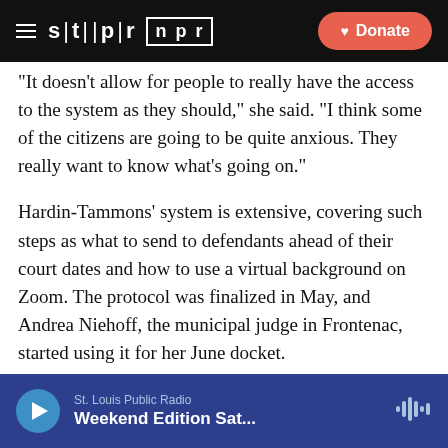STLPR NPR — Donate
“It doesn’t allow for people to really have the access to the system as they should,” she said. “I think some of the citizens are going to be quite anxious. They really want to know what’s going on.”
Hardin-Tammons’ system is extensive, covering such steps as what to send to defendants ahead of their court dates and how to use a virtual background on Zoom. The protocol was finalized in May, and Andrea Niehoff, the municipal judge in Frontenac, started using it for her June docket.
“It’s amazing how effective it’s been,” Niehoff said. “We’ve had wonderful turnout, and participants seem to
St. Louis Public Radio — Weekend Edition Sat...